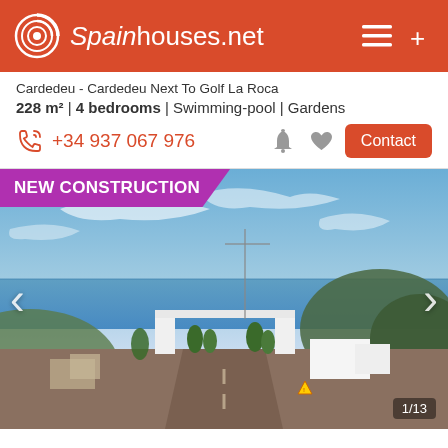Spainhouses.net
Cardedeu - Cardedeu Next To Golf La Roca
228 m² | 4 bedrooms | Swimming-pool | Gardens
+34 937 067 976
Contact
[Figure (photo): Aerial/street-level photo of a new residential development with white modern buildings, a gated entrance, green trees, and sea/mountain views in the background under a blue sky. Overlaid with a purple badge reading NEW CONSTRUCTION.]
1/13